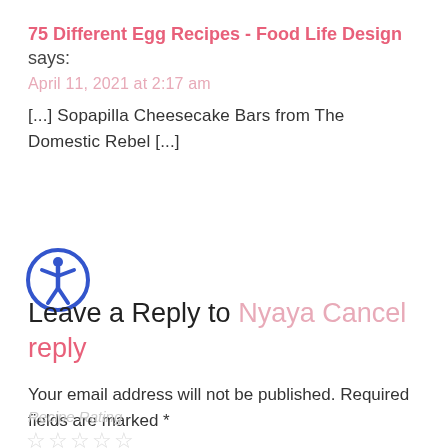75 Different Egg Recipes - Food Life Design says:
April 11, 2021 at 2:17 am
[...] Sopapilla Cheesecake Bars from The Domestic Rebel [...]
[Figure (illustration): Blue circular accessibility icon with a person symbol inside]
Leave a Reply to Nyaya Cancel reply
Your email address will not be published. Required fields are marked *
Recipe Rating
☆☆☆☆☆